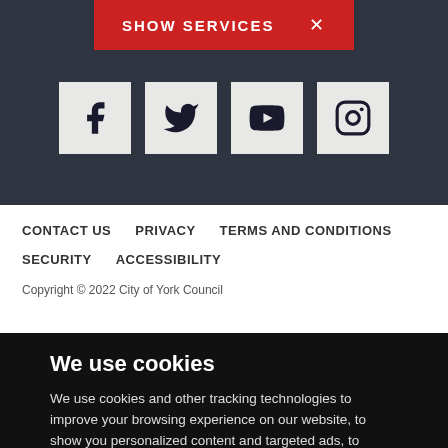[Figure (other): Red button with text SHOW SERVICES and an X icon]
[Figure (other): Social media icons: Facebook, Twitter, YouTube, Instagram in grey square boxes on dark background]
CONTACT US    PRIVACY    TERMS AND CONDITIONS    SECURITY    ACCESSIBILITY
Copyright © 2022 City of York Council
We use cookies
We use cookies and other tracking technologies to improve your browsing experience on our website, to show you personalized content and targeted ads, to analyze our website traffic, and